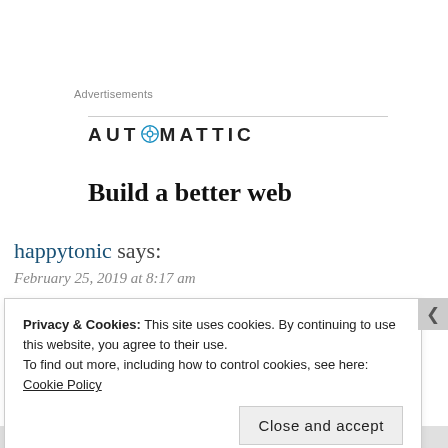Advertisements
[Figure (logo): Automattic logo with compass icon replacing the letter O, with uppercase spaced lettering: AUTOMATTIC]
Build a better web
happytonic says:
February 25, 2019 at 8:17 am
Privacy & Cookies: This site uses cookies. By continuing to use this website, you agree to their use.
To find out more, including how to control cookies, see here: Cookie Policy
Close and accept